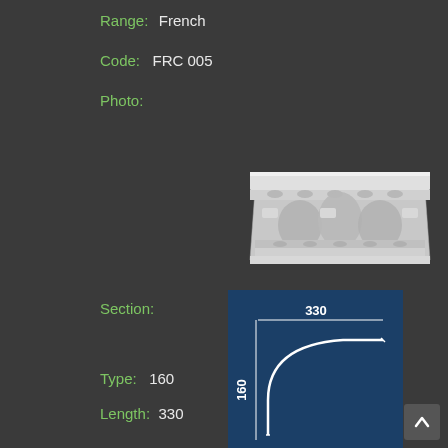Range: French
Code: FRC 005
Photo:
[Figure (photo): White ornate decorative cornice moulding with acanthus leaf and floral relief pattern, photographed against dark background]
Section:
[Figure (schematic): Cross-section diagram on dark blue background showing cornice profile with dimensions 330 (width) and 160 (height) marked with white lines and text]
Type: 160
Length: 330